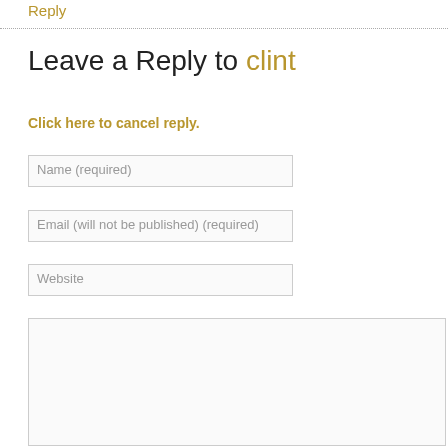Reply
Leave a Reply to clint
Click here to cancel reply.
Name (required)
Email (will not be published) (required)
Website